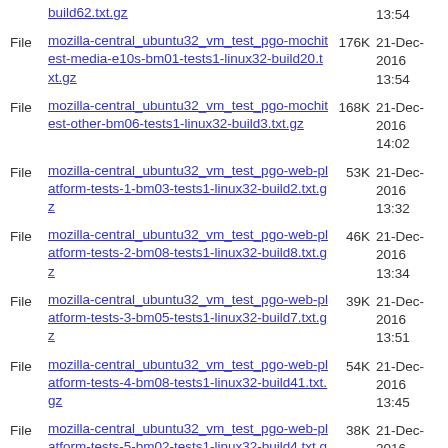build62.txt.gz  13:54
File  mozilla-central_ubuntu32_vm_test_pgo-mochitest-media-e10s-bm01-tests1-linux32-build20.txt.gz  176K  21-Dec-2016 13:54
File  mozilla-central_ubuntu32_vm_test_pgo-mochitest-other-bm06-tests1-linux32-build3.txt.gz  168K  21-Dec-2016 14:02
File  mozilla-central_ubuntu32_vm_test_pgo-web-platform-tests-1-bm03-tests1-linux32-build2.txt.gz  53K  21-Dec-2016 13:32
File  mozilla-central_ubuntu32_vm_test_pgo-web-platform-tests-2-bm08-tests1-linux32-build8.txt.gz  46K  21-Dec-2016 13:34
File  mozilla-central_ubuntu32_vm_test_pgo-web-platform-tests-3-bm05-tests1-linux32-build7.txt.gz  39K  21-Dec-2016 13:51
File  mozilla-central_ubuntu32_vm_test_pgo-web-platform-tests-4-bm08-tests1-linux32-build41.txt.gz  54K  21-Dec-2016 13:45
File  mozilla-central_ubuntu32_vm_test_pgo-web-platform-tests-5-bm02-tests1-linux32-build4.txt.gz  38K  21-Dec-2016 13:23
mozilla-central_ubuntu32_vm_test_pgo-  21-Dec-